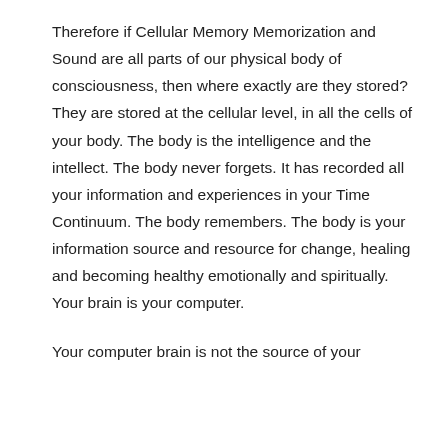Therefore if Cellular Memory Memorization and Sound are all parts of our physical body of consciousness, then where exactly are they stored? They are stored at the cellular level, in all the cells of your body. The body is the intelligence and the intellect. The body never forgets. It has recorded all your information and experiences in your Time Continuum. The body remembers. The body is your information source and resource for change, healing and becoming healthy emotionally and spiritually. Your brain is your computer.
Your computer brain is not the source of your